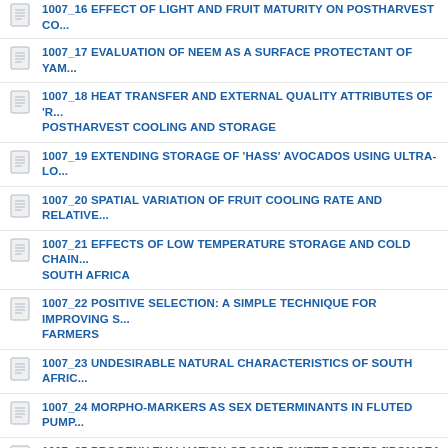1007_16 EFFECT OF LIGHT AND FRUIT MATURITY ON POSTHARVEST CO...
1007_17 EVALUATION OF NEEM AS A SURFACE PROTECTANT OF YAM...
1007_18 HEAT TRANSFER AND EXTERNAL QUALITY ATTRIBUTES OF 'R... POSTHARVEST COOLING AND STORAGE
1007_19 EXTENDING STORAGE OF 'HASS' AVOCADOS USING ULTRA-LO...
1007_20 SPATIAL VARIATION OF FRUIT COOLING RATE AND RELATIVE...
1007_21 EFFECTS OF LOW TEMPERATURE STORAGE AND COLD CHAIN... SOUTH AFRICA
1007_22 POSITIVE SELECTION: A SIMPLE TECHNIQUE FOR IMPROVING S... FARMERS
1007_23 UNDESIRABLE NATURAL CHARACTERISTICS OF SOUTH AFRIC...
1007_24 MORPHO-MARKERS AS SEX DETERMINANTS IN FLUTED PUMP...
1007_25 PROGENY EVALUATION OF SOME SWEET POTATO [IPOMOEA B...
1007_26 EVALUATION OF COMMERCIAL POTATO CULTIVARS FOR RESI...